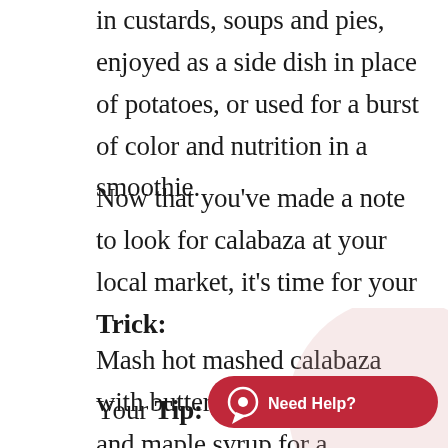in custards, soups and pies, enjoyed as a side dish in place of potatoes, or used for a burst of color and nutrition in a smoothie.
Now that you've made a note to look for calabaza at your local market, it's time for your Trick:
Mash hot mashed calabaza with butter, crumbled bacon and maple syrup for a delicious salty/sweet side dish.
Your Tip:
[Figure (other): A red rounded pill-shaped 'Need Help?' button with a chat bubble icon, overlaid on a light pink circle background, positioned in the bottom-right corner.]